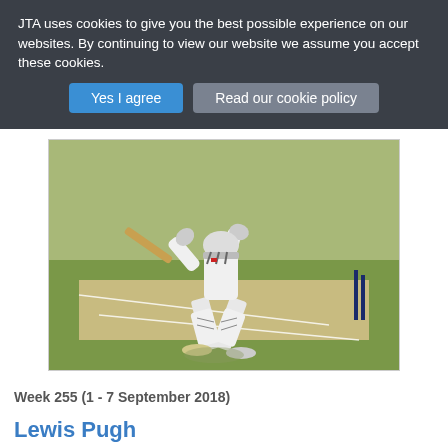JTA uses cookies to give you the best possible experience on our websites. By continuing to view our website we assume you accept these cookies.
Yes I agree | Read our cookie policy
[Figure (photo): Cricket batsman in white uniform and helmet playing a shot on a cricket field with green grass and a wicket visible]
Week 255 (1 - 7 September 2018)
Lewis Pugh
[Figure (photo): Partial view of another image at the bottom of the page]